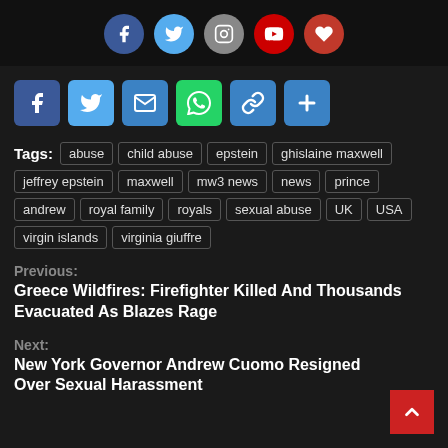[Figure (infographic): Social media icons in circles: Facebook (dark blue), Twitter (light blue), Instagram (grey), YouTube (red), Heart/favorite (dark red)]
[Figure (infographic): Share button icons in squares: Facebook, Twitter, Email, WhatsApp, Link, Plus/More]
Tags: abuse  child abuse  epstein  ghislaine maxwell  jeffrey epstein  maxwell  mw3 news  news  prince  andrew  royal family  royals  sexual abuse  UK  USA  virgin islands  virginia giuffre
Previous:
Greece Wildfires: Firefighter Killed And Thousands Evacuated As Blazes Rage
Next:
New York Governor Andrew Cuomo Resigned Over Sexual Harassment